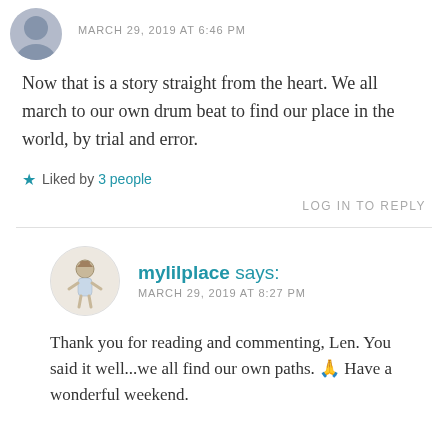[Figure (photo): Circular avatar photo of a person, partially visible at top of page]
MARCH 29, 2019 AT 6:46 PM
Now that is a story straight from the heart. We all march to our own drum beat to find our place in the world, by trial and error.
★ Liked by 3 people
LOG IN TO REPLY
[Figure (illustration): Circular avatar illustration of a small cartoon figure, used as user profile picture for mylilplace]
mylilplace says:
MARCH 29, 2019 AT 8:27 PM
Thank you for reading and commenting, Len. You said it well...we all find our own paths. 🙏 Have a wonderful weekend.